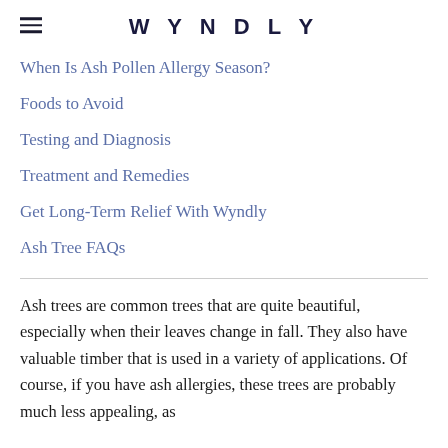WYNDLY
When Is Ash Pollen Allergy Season?
Foods to Avoid
Testing and Diagnosis
Treatment and Remedies
Get Long-Term Relief With Wyndly
Ash Tree FAQs
Ash trees are common trees that are quite beautiful, especially when their leaves change in fall. They also have valuable timber that is used in a variety of applications. Of course, if you have ash allergies, these trees are probably much less appealing, as